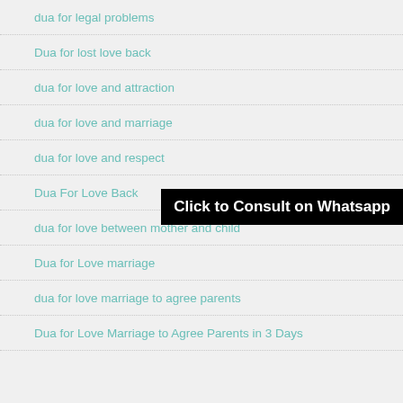dua for legal problems
Dua for lost love back
dua for love and attraction
dua for love and marriage
dua for love and respect
Dua For Love Back
dua for love between mother and child
Dua for Love marriage
dua for love marriage to agree parents
Dua for Love Marriage to Agree Parents in 3 Days
Click to Consult on Whatsapp